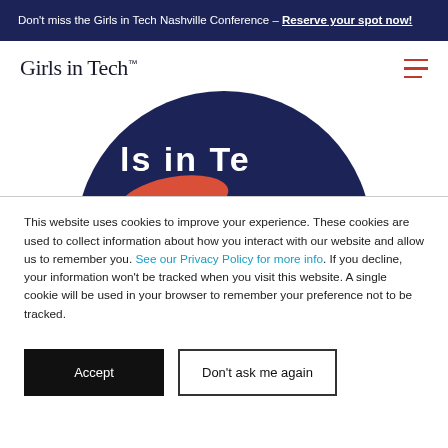Don't miss the Girls in Tech Nashville Conference – Reserve your spot now!
Girls in Tech™
[Figure (logo): Girls in Tech circular logo showing partial text 'ls in Te' on a dark navy background with a red/orange swoosh element]
This website uses cookies to improve your experience. These cookies are used to collect information about how you interact with our website and allow us to remember you. See our Privacy Policy for more info. If you decline, your information won't be tracked when you visit this website. A single cookie will be used in your browser to remember your preference not to be tracked.
Accept
Don't ask me again